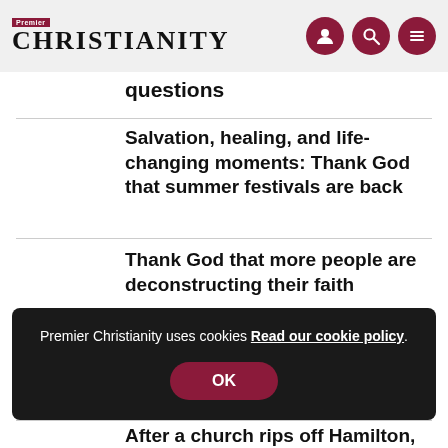Premier Christianity
questions
Salvation, healing, and life-changing moments: Thank God that summer festivals are back
Thank God that more people are deconstructing their faith
Premier Christianity uses cookies Read our cookie policy.
OK
After a church rips off Hamilton, here are